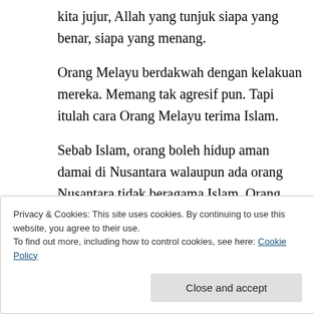kita jujur, Allah yang tunjuk siapa yang benar, siapa yang menang.
Orang Melayu berdakwah dengan kelakuan mereka. Memang tak agresif pun. Tapi itulah cara Orang Melayu terima Islam.
Sebab Islam, orang boleh hidup aman damai di Nusantara walaupun ada orang Nusantara tidak beragama Islam. Orang Melayu nak hidup berbaik-baik supaya semua orang nampak akan keindahan Islam, memeluk Islam dan bersatu di
Privacy & Cookies: This site uses cookies. By continuing to use this website, you agree to their use.
To find out more, including how to control cookies, see here: Cookie Policy
Close and accept